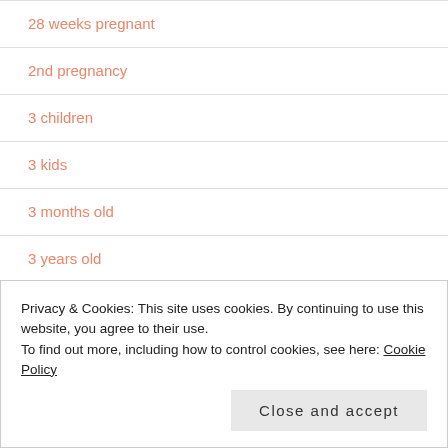28 weeks pregnant
2nd pregnancy
3 children
3 kids
3 months old
3 years old
3.75 months old
30 weeks pregnant
34 weeks pregnant
Privacy & Cookies: This site uses cookies. By continuing to use this website, you agree to their use.
To find out more, including how to control cookies, see here: Cookie Policy
Close and accept